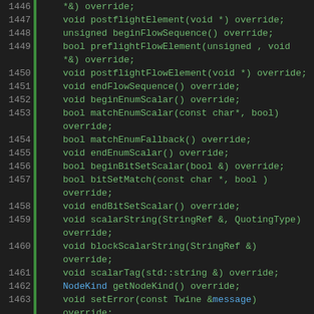[Figure (screenshot): Source code listing in a dark-themed code editor showing C++ class method declarations, lines 1446-1473, with green syntax highlighting for keywords and function names, blue for identifiers, orange for 'default' keyword.]